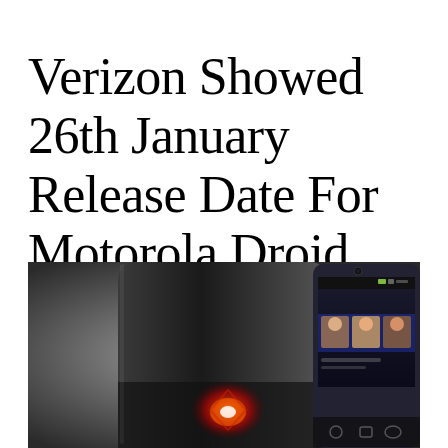Verizon Showed 26th January Release Date For Motorola Droid MAXX
[Figure (photo): Photo of a Motorola Droid MAXX smartphone showing the front face of the device with a glowing red light on the back panel visible behind it, and the screen showing a contact/people app. The background is a dark grey gradient.]